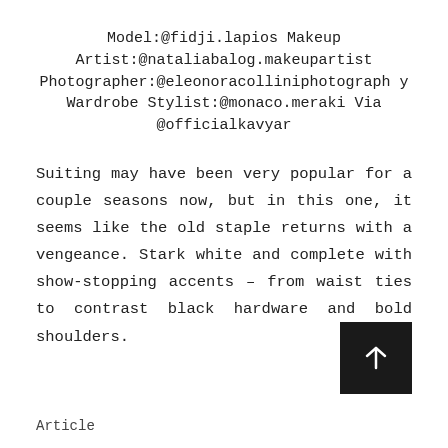Model:@fidji.lapios Makeup Artist:@nataliabalog.makeupartist Photographer:@eleonoracolliniphotography Wardrobe Stylist:@monaco.meraki Via @officialkavyar
Suiting may have been very popular for a couple seasons now, but in this one, it seems like the old staple returns with a vengeance. Stark white and complete with show-stopping accents – from waist ties to contrast black hardware and bold shoulders.
Article